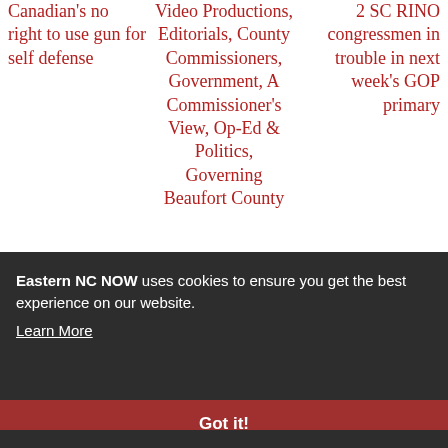Canadian's no right to use gun for self defense
Video Productions, Editorials, County Commissioners, Government, A Commissioner's View, Op-Ed & Politics, Governing Beaufort County
2 SC RINO congressmen in trouble in next week's GOP primary
Eastern NC NOW uses cookies to ensure you get the best experience on our website. Learn More
Got it!